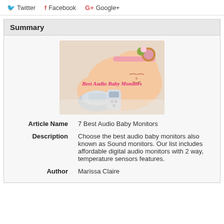Twitter  Facebook  Google+
Summary
[Figure (photo): A sleeping newborn baby wearing a floral headband, with audio baby monitor devices in the foreground. Text overlay reads 'Best Audio Baby Monitors' in pink cursive.]
| Article Name | 7 Best Audio Baby Monitors |
| Description | Choose the best audio baby monitors also known as Sound monitors. Our list includes affordable digital audio monitors with 2 way, temperature sensors features. |
| Author | Marissa Claire |